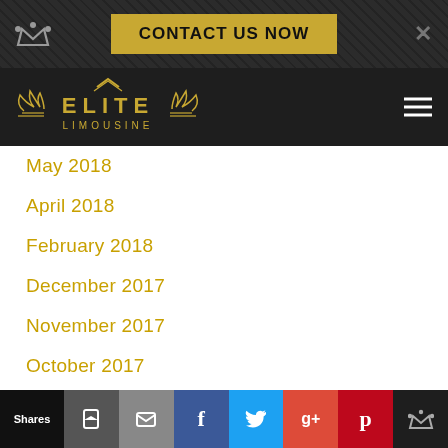CONTACT US NOW
[Figure (logo): Elite Limousine logo with wings in gold on dark background]
May 2018
April 2018
February 2018
December 2017
November 2017
October 2017
September 2017
August 2017
July 2017
April 2017
March 2017
February 2017
January 2017
December 2016
Shares